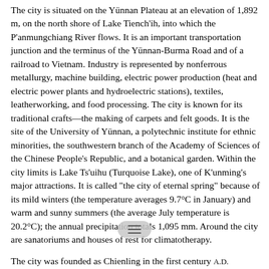The city is situated on the Yünnan Plateau at an elevation of 1,892 m, on the north shore of Lake Tiench'ih, into which the P'anmungchiang River flows. It is an important transportation junction and the terminus of the Yünnan-Burma Road and of a railroad to Vietnam. Industry is represented by nonferrous metallurgy, machine building, electric power production (heat and electric power plants and hydroelectric stations), textiles, leatherworking, and food processing. The city is known for its traditional crafts—the making of carpets and felt goods. It is the site of the University of Yünnan, a polytechnic institute for ethnic minorities, the southwestern branch of the Academy of Sciences of the Chinese People's Republic, and a botanical garden. Within the city limits is Lake Ts'uihu (Turquoise Lake), one of K'unming's major attractions. It is called "the city of eternal spring" because of its mild winters (the temperature averages 9.7°C in January) and warm and sunny summers (the average July temperature is 20.2°C); the annual precipitation totals 1,095 mm. Around the city are sanatoriums and houses of rest for climatotherapy.
The city was founded as Chienling in the first century A.D. Subsequently it was called Yingying, K'unchou, Itan, and Yünnan, acquiring its present name in the 13th century after the Mongol conquest of China. In the mid-17th century it became the administrative center of Yünnan. From 1856 t...